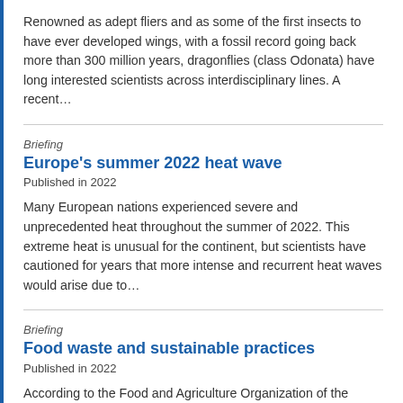Renowned as adept fliers and as some of the first insects to have ever developed wings, with a fossil record going back more than 300 million years, dragonflies (class Odonata) have long interested scientists across interdisciplinary lines. A recent…
Briefing
Europe's summer 2022 heat wave
Published in 2022
Many European nations experienced severe and unprecedented heat throughout the summer of 2022. This extreme heat is unusual for the continent, but scientists have cautioned for years that more intense and recurrent heat waves would arise due to…
Briefing
Food waste and sustainable practices
Published in 2022
According to the Food and Agriculture Organization of the United Nations (FAO), of all the food produced worldwide, 14 percent—